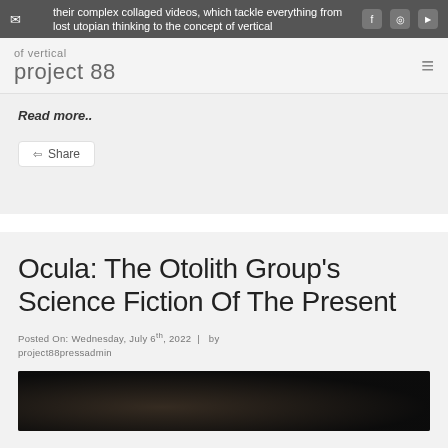their complex collaged videos, which tackle everything from lost utopian thinking to the concept of vertical
project 88
Read more..
Share
Ocula: The Otolith Group's Science Fiction Of The Present
Posted On: Wednesday, July 6th, 2022 |  by project88pressadmin
[Figure (photo): Dark thumbnail image of two figures, mostly in shadow]